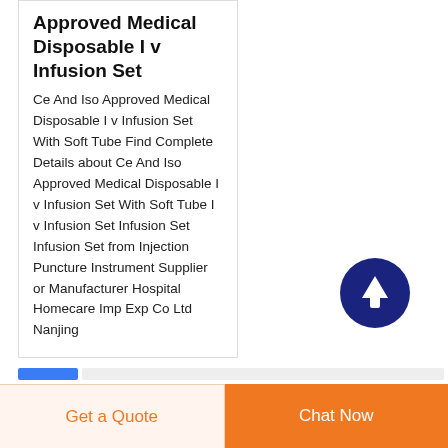Approved Medical Disposable I v Infusion Set
Ce And Iso Approved Medical Disposable I v Infusion Set With Soft Tube Find Complete Details about Ce And Iso Approved Medical Disposable I v Infusion Set With Soft Tube I v Infusion Set Infusion Set Infusion Set from Injection Puncture Instrument Supplier or Manufacturer Hospital Homecare Imp Exp Co Ltd Nanjing
[Figure (illustration): Dark blue circular scroll-to-top button with upward arrow icon]
Get a Quote
Chat Now